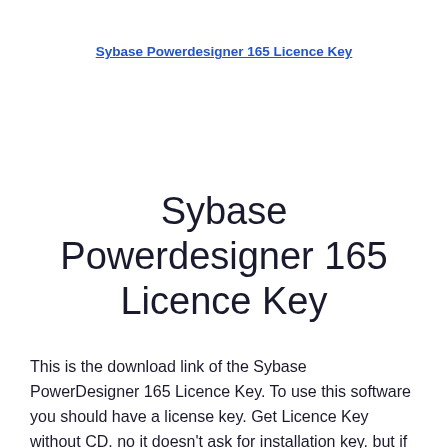Sybase Powerdesigner 165 Licence Key
Sybase Powerdesigner 165 Licence Key
This is the download link of the Sybase PowerDesigner 165 Licence Key. To use this software you should have a license key. Get Licence Key without CD. no it doesn't ask for installation key. but if you open the powerdesigner app then it ask for licence key. from custom licence...